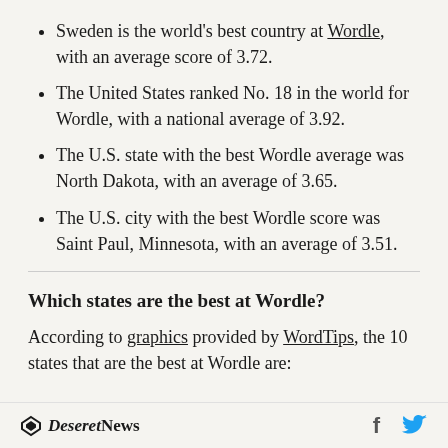Sweden is the world's best country at Wordle, with an average score of 3.72.
The United States ranked No. 18 in the world for Wordle, with a national average of 3.92.
The U.S. state with the best Wordle average was North Dakota, with an average of 3.65.
The U.S. city with the best Wordle score was Saint Paul, Minnesota, with an average of 3.51.
Which states are the best at Wordle?
According to graphics provided by WordTips, the 10 states that are the best at Wordle are:
Deseret News